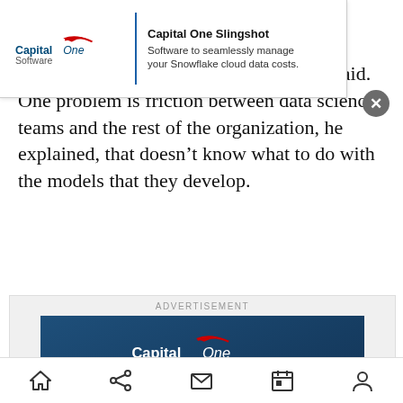that 7… ble scaling … we're hearing from our enterprise clients," he said. One problem is friction between data science teams and the rest of the organization, he explained, that doesn't know what to do with the models that they develop.
[Figure (advertisement): Capital One Software banner ad — Capital One Slingshot: Software to seamlessly manage your Snowflake cloud data costs.]
[Figure (advertisement): Capital One Software large ad — Capital One Slingshot: Software to seamlessly manage your Snowflake cloud data costs.]
Home | Share | Mail | Calendar | Profile navigation icons